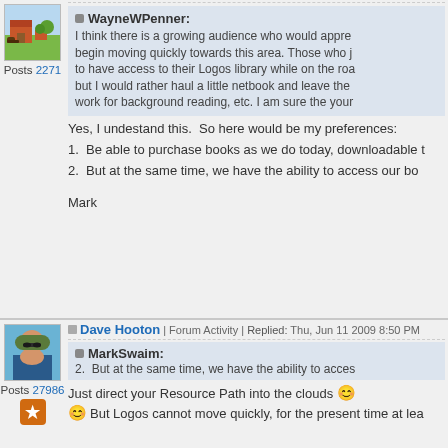[Figure (photo): Forum avatar showing a farm scene with house, trees, and animals]
Posts 2271
WayneWPenner: I think there is a growing audience who would appreciate... begin moving quickly towards this area. Those who j... to have access to their Logos library while on the roa... but I would rather haul a little netbook and leave the ... work for background reading, etc. I am sure the your...
Yes, I undestand this.  So here would be my preferences:
1.  Be able to purchase books as we do today, downloadable t
2.  But at the same time, we have the ability to access our bo
Mark
[Figure (photo): Forum avatar photo of a man wearing sunglasses and a cap]
Posts 27986
Dave Hooton | Forum Activity | Replied: Thu, Jun 11 2009 8:50 PM
MarkSwaim: 2.  But at the same time, we have the ability to acces
Just direct your Resource Path into the clouds 😊
😊 But Logos cannot move quickly, for the present time at lea